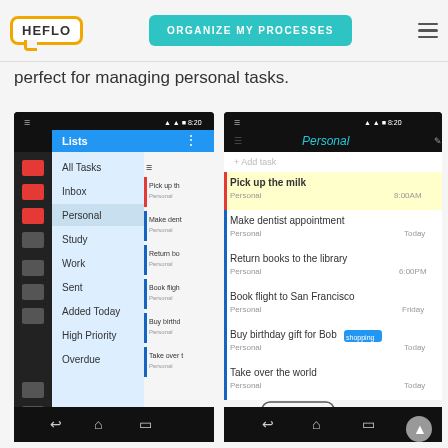HEFLO | ORGANIZE MY PROCESSES
perfect for managing personal tasks.
[Figure (screenshot): Two Android app screenshots showing a task management app. Left screenshot shows a list view with categories: All Tasks (49), Inbox (8), Personal (6), Study (11), Work (19), Sent (5), Added Today (1), High Priority (3), Overdue. Right screenshot shows the Personal list with tasks: Pick up the milk (8:00AM), Make dentist appointment (Today), Return books to the library (6:00PM), Book flight to San Francisco (Friday), Buy birthday gift for Bob - shopping (Today), Take over the world (Today). Bottom shows Incomplete/Completed tabs.]